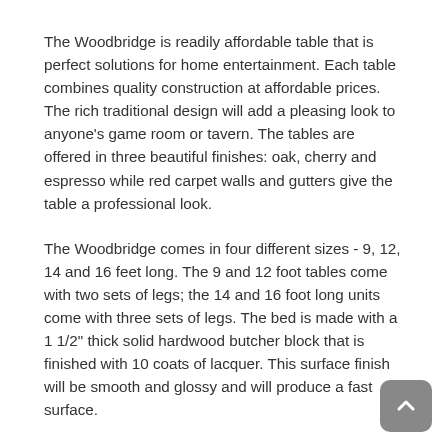The Woodbridge is readily affordable table that is perfect solutions for home entertainment. Each table combines quality construction at affordable prices. The rich traditional design will add a pleasing look to anyone's game room or tavern. The tables are offered in three beautiful finishes: oak, cherry and espresso while red carpet walls and gutters give the table a professional look.
The Woodbridge comes in four different sizes - 9, 12, 14 and 16 feet long. The 9 and 12 foot tables come with two sets of legs; the 14 and 16 foot long units come with three sets of legs. The bed is made with a 1 1/2" thick solid hardwood butcher block that is finished with 10 coats of lacquer. This surface finish will be smooth and glossy and will produce a fast surface.
Woodbridge Shuffle Boards come with a variety of features and benefits. First of all, the 9 foot and the 12 foot tables come with traditional 1-2-3 scoring boxes and the 14 foot and 16 foot tables have 1-2-3-4 scoring b…